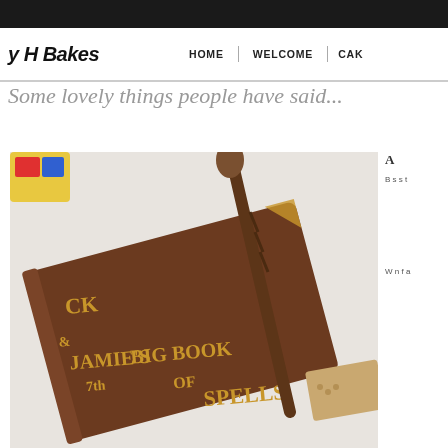y H Bakes | HOME | WELCOME | CAK
Some lovely things people have said...
[Figure (photo): A book-shaped chocolate cake decorated with gold lettering reading 'JACK & JAMIE'S 7th BIG BOOK OF SPELLS', with a wizard wand on top, photographed from above on a white surface.]
A partial sidebar text block on the right side of the page, partially cut off.